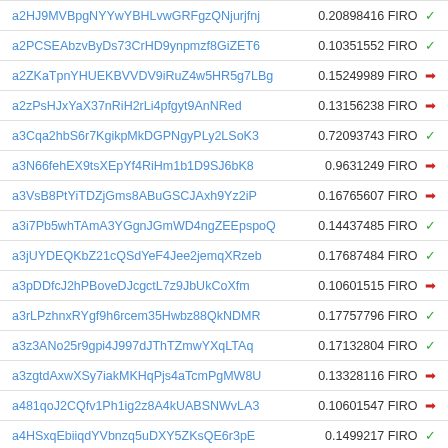| Address | Value |
| --- | --- |
| a2HJ9MVBpgNYYwYBHLvwGRFgzQNjurjfnj | 0.20898416 FIRO ✓ |
| a2PCSEAbzvByDs73CrHD9ynpmzf8GiZET6 | 0.10351552 FIRO ✓ |
| a2ZKaTpnYHUEKBVVDV9iRuZ4w5HR5g7LBg | 0.15249989 FIRO → |
| a2zPsHJxYaX37nRiH2rLi4pfgyt9AnNRed | 0.13156238 FIRO → |
| a3Cqa2hbS6r7KgikpMkDGPNgyPLy2LSoK3 | 0.72093743 FIRO ✓ |
| a3N66fehEX9tsXEpYf4RiHm1b1D9SJ6bK8 | 0.9631249 FIRO → |
| a3VsB8PtYiTDZjGms8ABuGSCJAxh9Yz2iP | 0.16765607 FIRO → |
| a3i7Pb5whTAmA3YGgnJGmWD4ngZEEpspoQ | 0.14437485 FIRO ✓ |
| a3jUYDEQKbZ21cQSdYeF4Jee2jemqXRzeb | 0.17687484 FIRO ✓ |
| a3pDDfcJ2hPBoveDJcgctL7z9JbUkCoXfm | 0.10601515 FIRO → |
| a3rLPzhnxRYgf9h6rcem35Hwbz88QkNDMR | 0.17757796 FIRO ✓ |
| a3z3ANo25r9gpi4J997dJThTZmwYXqLTAq | 0.17132804 FIRO ✓ |
| a3zgtdAxwXSy7iakMKHqPjs4aTcmPgMW8U | 0.13328116 FIRO → |
| a481qoJ2CQfv1Ph1ig2z8A4kUABSNWvLA3 | 0.10601547 FIRO → |
| a4HSxqEbiiqdYVbnzq5uDXY5ZKsQE6r3pE | 0.1499217 FIRO ✓ |